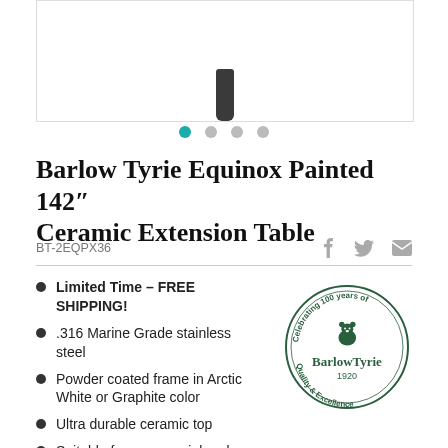[Figure (photo): Product image area showing the bottom of a table leg/peg in dark graphite color against white background]
[Figure (other): Image carousel navigation dots: one teal/active dot and three gray dots]
Barlow Tyrie Equinox Painted 142″ Ceramic Extension Table
BT-2EQPX36
Limited Time – FREE SHIPPING!
.316 Marine Grade stainless steel
Powder coated frame in Arctic White or Graphite color
Ultra durable ceramic top
Suitable for commercial and residential use
[Figure (logo): Barlow Tyrie circular badge logo: 'Celebrating 100 years of Quality & Excellence' with bear icon and '1920' text in dark green on white]